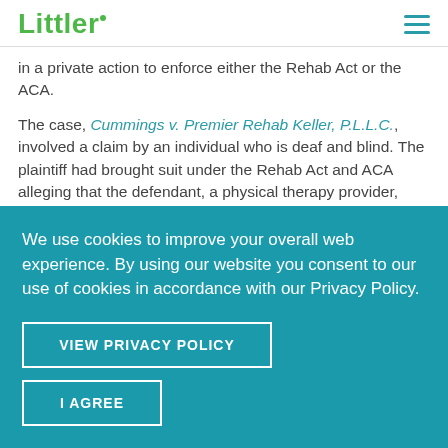Littler
in a private action to enforce either the Rehab Act or the ACA.
The case, Cummings v. Premier Rehab Keller, P.L.L.C., involved a claim by an individual who is deaf and blind. The plaintiff had brought suit under the Rehab Act and ACA alleging that the defendant, a physical therapy provider, refused to provide an American Sign Language (ASL) interpreter at her physical therapy
We use cookies to improve your overall web experience. By using our website you consent to our use of cookies in accordance with our Privacy Policy.
VIEW PRIVACY POLICY
I AGREE